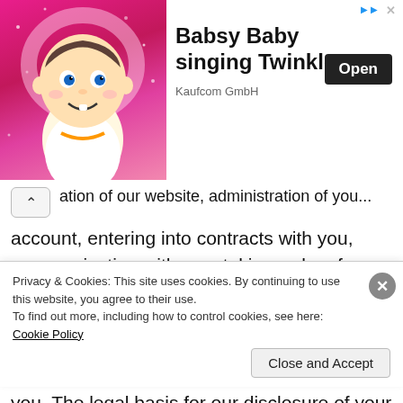[Figure (screenshot): Advertisement banner for 'Babsy Baby singing Twinkle' app by Kaufcom GmbH, showing a cartoon baby character on a pink background with an Open button]
operation of our website, administration of your account, entering into contracts with you, communicating with you, taking orders for goods or services, delivering our goods and services, identifying trends, protecting the security of our company and website, and marketing additional goods and services to you. The legal basis for our disclosure of your data is both your Consent to this Privacy Policy and our
Privacy & Cookies: This site uses cookies. By continuing to use this website, you agree to their use.
To find out more, including how to control cookies, see here: Cookie Policy
Close and Accept